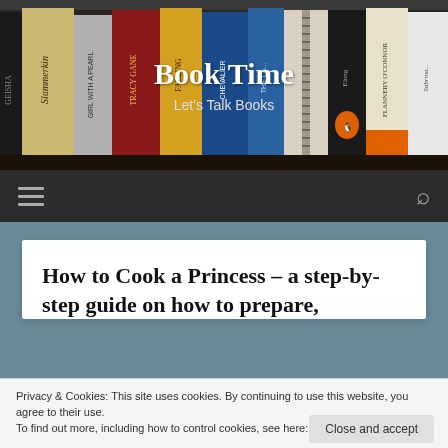[Figure (photo): Bookshelf banner photo showing spines of various books including Memoirs of a Geisha, Slammerkin, Girl with a Pearl, Tracy Gane, Falling, Chevalier, The Last, A Curse, Elong, Flannery O'Connor, and others.]
Book Time
Let's Talk Books
Navigation bar with hamburger menu and search icon
How to Cook a Princess – a step-by-step guide on how to prepare,
Privacy & Cookies: This site uses cookies. By continuing to use this website, you agree to their use.
To find out more, including how to control cookies, see here: Cookie Policy
Close and accept